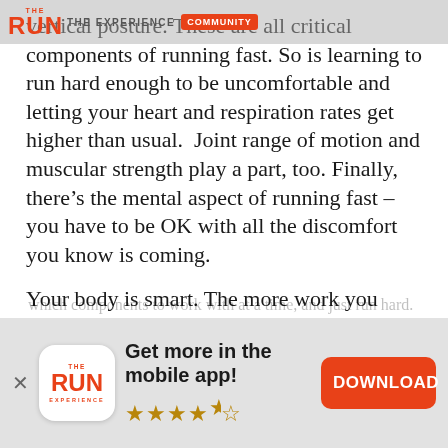THE RUN EXPERIENCE | THE EXPERIENCE | COMMUNITY
vertical posture. These are all critical components of running fast. So is learning to run hard enough to be uncomfortable and letting your heart and respiration rates get higher than usual.  Joint range of motion and muscular strength play a part, too. Finally, there’s the mental aspect of running fast – you have to be OK with all the discomfort you know is coming.
Your body is smart. The more work you require it to do, the more it learns how to most efficiently accomplish that goal. But all these components are a lot of stuff to try to keep in your head at the same time. So don’t. Pick one or two components to work with at a time, and just run hard.
[Figure (screenshot): App download banner: The Run Experience logo, 'Get more in the mobile app!' text, 4.5 star rating, and orange DOWNLOAD button]
Get more in the mobile app!
DOWNLOAD